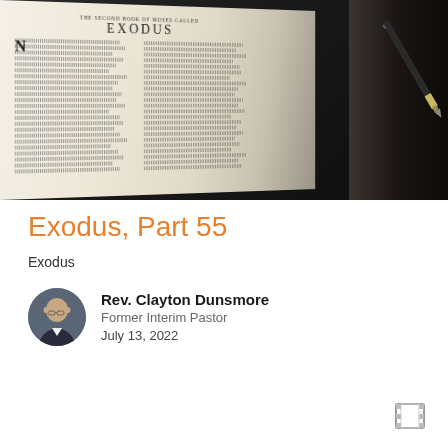[Figure (photo): Open Bible showing the book of Exodus with a pen resting on the right side, dark background]
Exodus, Part 55
Exodus
Rev. Clayton Dunsmore
Former Interim Pastor
July 13, 2022